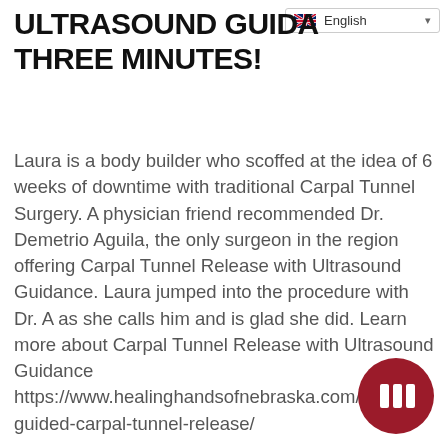[Figure (screenshot): Language selector dropdown showing English with UK flag]
ULTRASOUND GUIDANCE IN THREE MINUTES!
Laura is a body builder who scoffed at the idea of 6 weeks of downtime with traditional Carpal Tunnel Surgery. A physician friend recommended Dr. Demetrio Aguila, the only surgeon in the region offering Carpal Tunnel Release with Ultrasound Guidance. Laura jumped into the procedure with Dr. A as she calls him and is glad she did. Learn more about Carpal Tunnel Release with Ultrasound Guidance https://www.healinghandsofnebraska.com/ultrasound-guided-carpal-tunnel-release/
[Figure (logo): Dark red circular logo with two vertical bar icons (resembling a pause/chart symbol)]